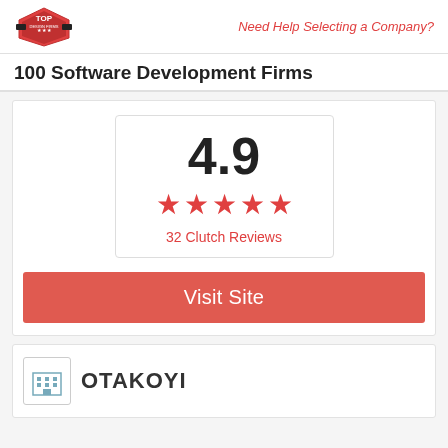Need Help Selecting a Company?
100 Software Development Firms
[Figure (infographic): Rating box showing 4.9 stars with 5 red stars and 32 Clutch Reviews label, followed by a red Visit Site button]
[Figure (logo): OTAKOYI company logo with building icon]